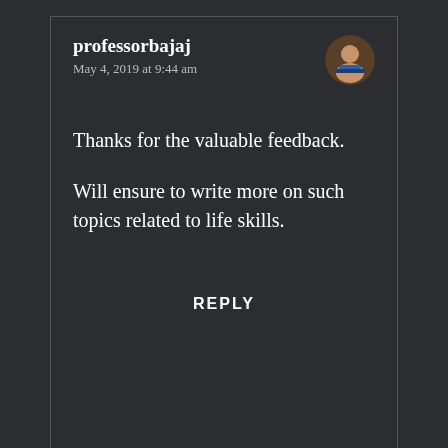professorbajaj
May 4, 2019 at 9:44 am
Thanks for the valuable feedback.
Will ensure to write more on such topics related to life skills.
REPLY
[Figure (other): DuckDuckGo advertisement banner with orange background showing phone mockup and text: Search, browse, and email with more privacy. All in One Free App]
Advertisement(?)